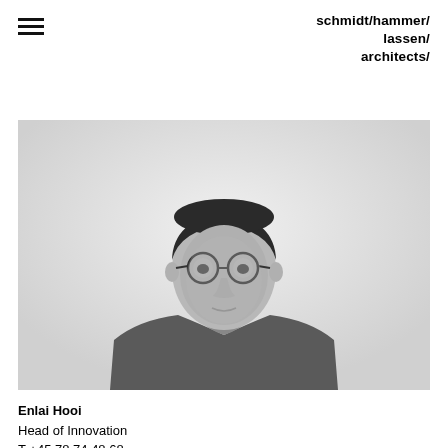schmidt/hammer/lassen/architects/
[Figure (photo): Black and white portrait photo of Enlai Hooi, a man wearing round glasses and a grey linen shirt, standing against a light background]
Enlai Hooi
Head of Innovation
T +45 78 74 48 68